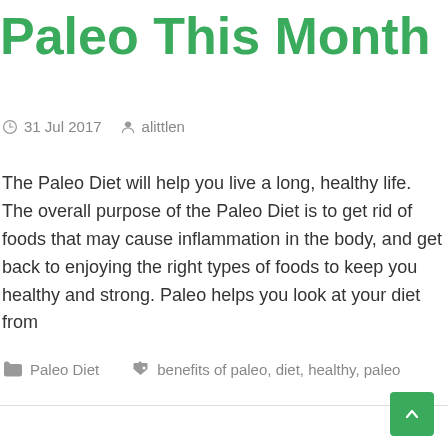Paleo This Month
31 Jul 2017   alittlen
The Paleo Diet will help you live a long, healthy life. The overall purpose of the Paleo Diet is to get rid of foods that may cause inflammation in the body, and get back to enjoying the right types of foods to keep you healthy and strong. Paleo helps you look at your diet from
Paleo Diet   benefits of paleo, diet, healthy, paleo